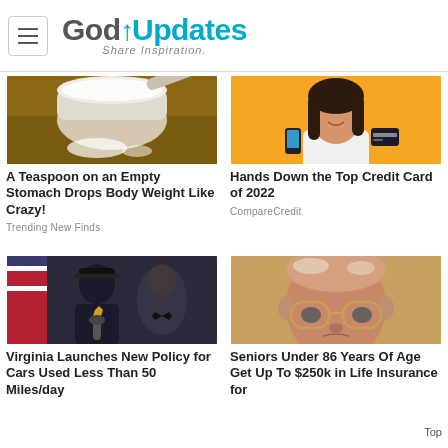GodUpdates — Share Inspiration.
[Figure (photo): A measuring scoop filled with white powder on a wooden surface with some powder spilled]
A Teaspoon on an Empty Stomach Drops Body Weight Like Crazy!
Trending New Finds
[Figure (photo): A smiling young woman on yellow background holding a phone and credit card]
Hands Down the Top Credit Card of 2022
CompareCredit
[Figure (photo): A man in police uniform speaking at a podium with an American flag in background]
Virginia Launches New Policy for Cars Used Less Than 50 Miles/day
[Figure (photo): Close-up portrait of an elderly man with glasses]
Seniors Under 86 Years Of Age Get Up To $250k in Life Insurance for